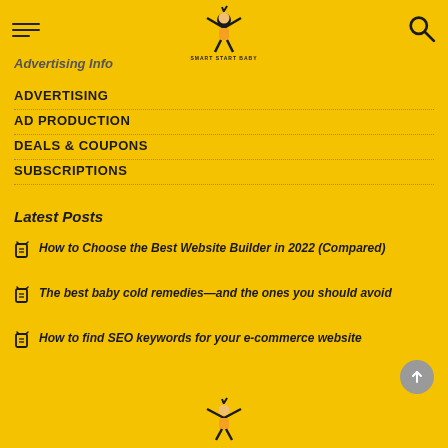Smart Start Baby
Advertising Info
ADVERTISING
AD PRODUCTION
DEALS & COUPONS
SUBSCRIPTIONS
Latest Posts
How to Choose the Best Website Builder in 2022 (Compared)
The best baby cold remedies—and the ones you should avoid
How to find SEO keywords for your e-commerce website
[Figure (logo): Smart Start Baby logo — cartoon figure with arms raised, text SMART START BABY]
[Figure (logo): Smart Start Baby footer logo — cartoon figure]